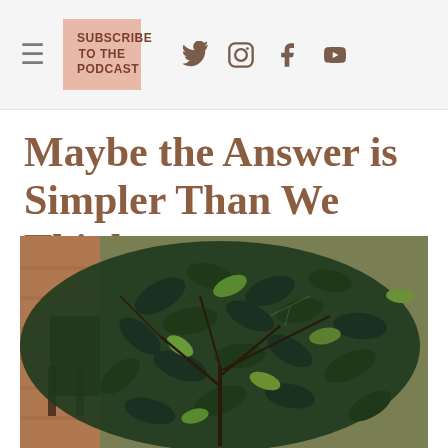≡   SUBSCRIBE TO THE PODCAST   🐦 📷 f ▶
Maybe the Answer is Simpler Than We Think
[Figure (photo): Close-up photograph of a large leafy green plant (ficus/similar) with dark green leaves, taken indoors near a brick wall. A dark chair is visible in the background on the left side.]